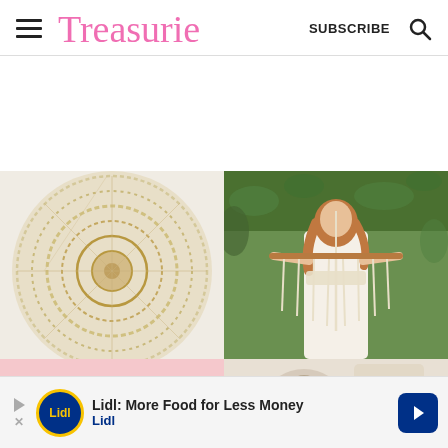Treasurie — SUBSCRIBE
[Figure (photo): Macrame crochet round wall hanging or bag, cream/white color, close-up]
[Figure (photo): Woman in white boho lace dress holding a macrame wall hanging on a wooden dowel, outdoors with green foliage background]
[Figure (photo): Pink background with jewelry or accessories, partial view]
[Figure (photo): Neutral/beige accessories or decor items, partial view]
[Figure (photo): Advertisement banner: Lidl: More Food for Less Money — Lidl logo and blue arrow icon]